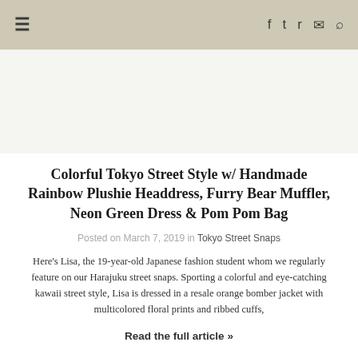≡  f  𝕥  ☰  ✉  🔍
[Figure (photo): Empty image placeholder area at top of article]
Colorful Tokyo Street Style w/ Handmade Rainbow Plushie Headdress, Furry Bear Muffler, Neon Green Dress & Pom Pom Bag
Posted on March 7, 2019 in Tokyo Street Snaps
Here's Lisa, the 19-year-old Japanese fashion student whom we regularly feature on our Harajuku street snaps. Sporting a colorful and eye-catching kawaii street style, Lisa is dressed in a resale orange bomber jacket with multicolored floral prints and ribbed cuffs,
Read the full article »